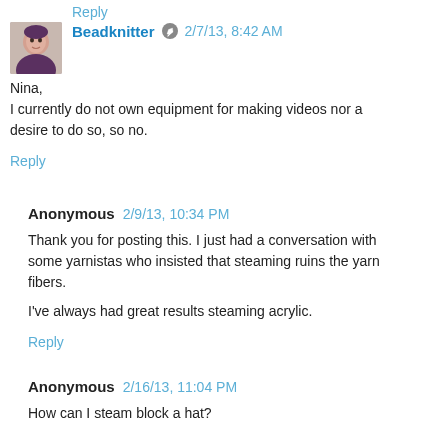[Figure (photo): Avatar photo of Beadknitter showing a woman's face]
Beadknitter 2/7/13, 8:42 AM
Nina,
I currently do not own equipment for making videos nor a desire to do so, so no.
Reply
Anonymous 2/9/13, 10:34 PM
Thank you for posting this. I just had a conversation with some yarnistas who insisted that steaming ruins the yarn fibers.
I've always had great results steaming acrylic.
Reply
Anonymous 2/16/13, 11:04 PM
How can I steam block a hat?